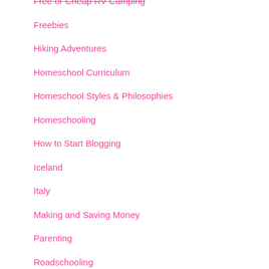Free or Cheap RV Camping
Freebies
Hiking Adventures
Homeschool Curriculum
Homeschool Styles & Philosophies
Homeschooling
How to Start Blogging
Iceland
Italy
Making and Saving Money
Parenting
Roadschooling
RV Life
RVing 50 States USA